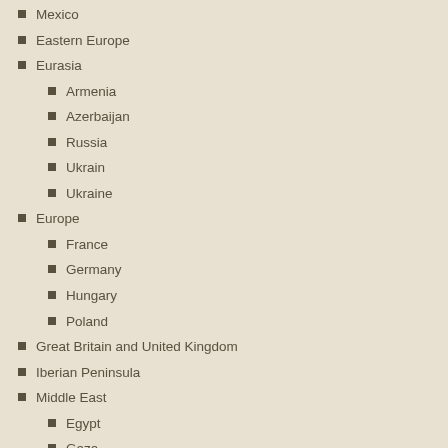Mexico
Eastern Europe
Eurasia
Armenia
Azerbaijan
Russia
Ukrain
Ukraine
Europe
France
Germany
Hungary
Poland
Great Britain and United Kingdom
Iberian Peninsula
Middle East
Egypt
Gaza